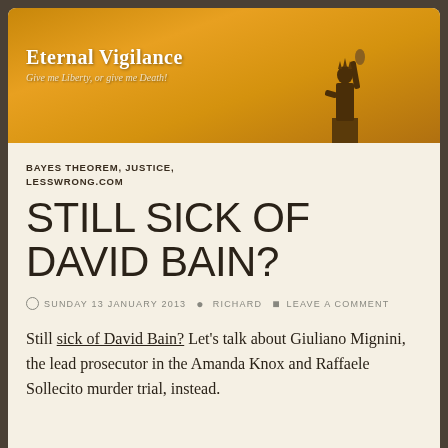[Figure (photo): Blog header banner with golden sunset sky background and Statue of Liberty silhouette. Title reads 'Eternal Vigilance' with subtitle 'Give me Liberty, or give me Death!']
BAYES THEOREM, JUSTICE, LESSWRONG.COM
STILL SICK OF DAVID BAIN?
SUNDAY 13 JANUARY 2013  RICHARD  LEAVE A COMMENT
Still sick of David Bain? Let's talk about Giuliano Mignini, the lead prosecutor in the Amanda Knox and Raffaele Sollecito murder trial, instead.